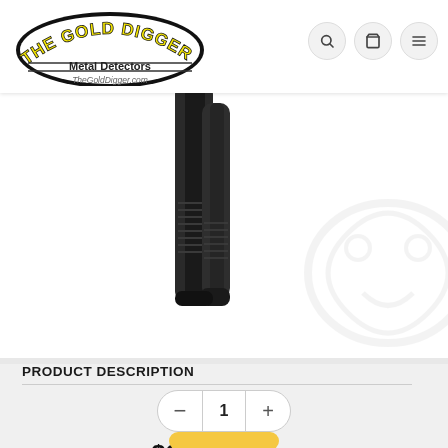[Figure (logo): The Gold Digger Metal Detectors logo with yellow text on white background and website URL TheGoldDigger.com]
[Figure (photo): Close-up photo of a metal detector handle/grip in dark color against white background]
PRODUCT DESCRIPTION
Quantity control showing 1, with minus and plus buttons
$38.49  $45.28 (strikethrough original price)